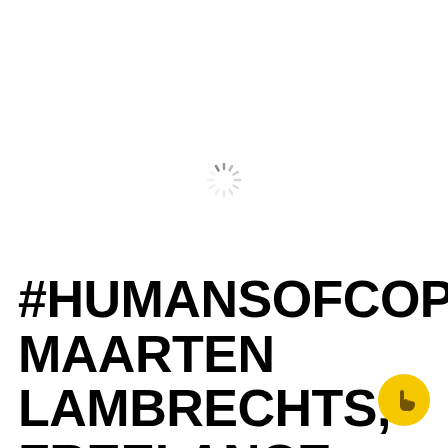[Figure (other): Loading spinner icon (gray radial lines forming a circle)]
#HUMANSOFCOPYRIGHT: MAARTEN LAMBRECHTS, FREELANCE DATA JOURNALIST